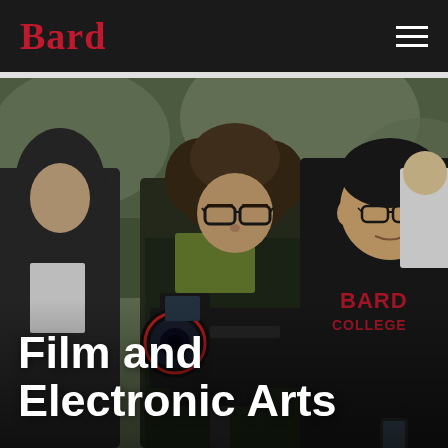Bard
[Figure (photo): Three people outdoors examining a Canon cinema camera on a tripod. A woman with curly hair and glasses wearing a plaid shirt and green top holds the camera, while a young man wearing a black Bard College hoodie looks at the camera display. A third person in a dark hoodie stands in the background.]
Film and Electronic Arts